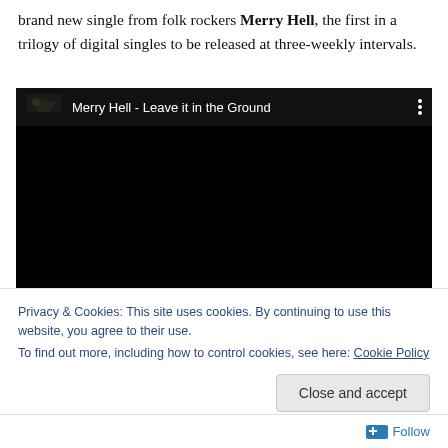brand new single from folk rockers Merry Hell, the first in a trilogy of digital singles to be released at three-weekly intervals.
[Figure (screenshot): Embedded YouTube video player showing 'Merry Hell - Leave it in the Ground' with black background and video title bar]
Privacy & Cookies: This site uses cookies. By continuing to use this website, you agree to their use. To find out more, including how to control cookies, see here: Cookie Policy
Close and accept